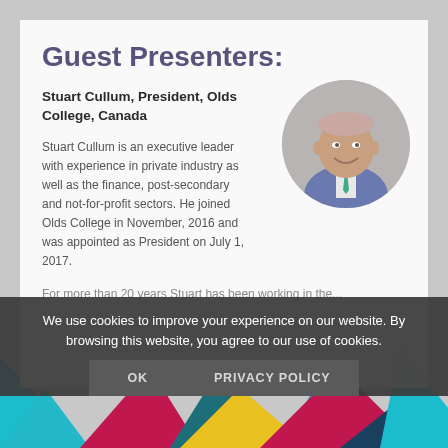Guest Presenters:
Stuart Cullum, President, Olds College, Canada
Stuart Cullum is an executive leader with experience in private industry as well as the finance, post-secondary and not-for-profit sectors. He joined Olds College in November, 2016 and was appointed as President on July 1, 2017.
For more than 20 years Stuart has been working in the...
[Figure (photo): Circular headshot photo of Stuart Cullum, a man in a suit with a teal tie, smiling]
We use cookies to improve your experience on our website. By browsing this website, you agree to our use of cookies.
OK   PRIVACY POLICY